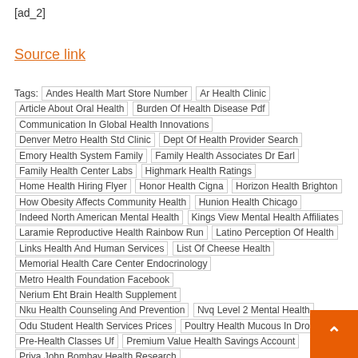[ad_2]
Source link
Tags: Andes Health Mart Store Number | Ar Health Clinic | Article About Oral Health | Burden Of Health Disease Pdf | Communication In Global Health Innovations | Denver Metro Health Std Clinic | Dept Of Health Provider Search | Emory Health System Family | Family Health Associates Dr Earl | Family Health Center Labs | Highmark Health Ratings | Home Health Hiring Flyer | Honor Health Cigna | Horizon Health Brighton | How Obesity Affects Community Health | Hunion Health Chicago | Indeed North American Mental Health | Kings View Mental Health Affiliates | Laramie Reproductive Health Rainbow Run | Latino Perception Of Health | Links Health And Human Services | List Of Cheese Health | Memorial Health Care Center Endocrinology | Metro Health Foundation Facebook | Nerium Eht Brain Health Supplement | Nku Health Counseling And Prevention | Nvq Level 2 Mental Health | Odu Student Health Services Prices | Poultry Health Mucous In Droppings | Pre-Health Classes Uf | Premium Value Health Savings Account | Priya John Bombay Health Research | Professor Public Opinion Health Care | Programs That Offer Health Coaches | Prominence Health Plan Leadership | Prostitutes And Health | Public Health Bloomfield Iowa | Texas Health Family Care 410 | Together Health Lake Mary | Tower Hill Uf Health Zaidi | Traditional Dance Teachers Mental Health | Trans Health Conference Philadelphia 2016 | Unskilled Home Health Care Denver | Uo Masters Mental Health Counseling | Upland Hills Health Foundation Board | Urban Bee Hives Health | Walker Whitman Public Health | Wheeler'S Ranch Health Harmony Festival | Women'S Health Choice Nottingham Way | Www.Manet Community Health Center